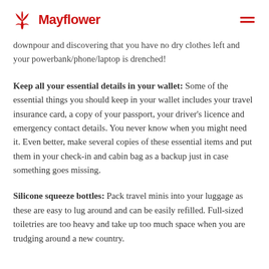Mayflower
downpour and discovering that you have no dry clothes left and your powerbank/phone/laptop is drenched!
Keep all your essential details in your wallet: Some of the essential things you should keep in your wallet includes your travel insurance card, a copy of your passport, your driver's licence and emergency contact details. You never know when you might need it. Even better, make several copies of these essential items and put them in your check-in and cabin bag as a backup just in case something goes missing.
Silicone squeeze bottles: Pack travel minis into your luggage as these are easy to lug around and can be easily refilled. Full-sized toiletries are too heavy and take up too much space when you are trudging around a new country.